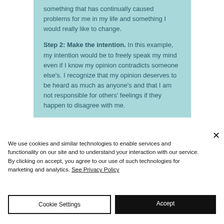something that has continually caused problems for me in my life and something I would really like to change.
Step 2: Make the intention. In this example, my intention would be to freely speak my mind even if I know my opinion contradicts someone else's. I recognize that my opinion deserves to be heard as much as anyone's and that I am not responsible for others' feelings if they happen to disagree with me.
We use cookies and similar technologies to enable services and functionality on our site and to understand your interaction with our service. By clicking on accept, you agree to our use of such technologies for marketing and analytics. See Privacy Policy